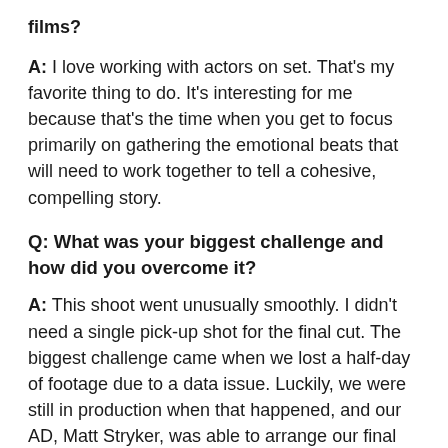films?
A: I love working with actors on set. That's my favorite thing to do. It's interesting for me because that's the time when you get to focus primarily on gathering the emotional beats that will need to work together to tell a cohesive, compelling story.
Q: What was your biggest challenge and how did you overcome it?
A: This shoot went unusually smoothly. I didn't need a single pick-up shot for the final cut. The biggest challenge came when we lost a half-day of footage due to a data issue. Luckily, we were still in production when that happened, and our AD, Matt Stryker, was able to arrange our final day on set to accommodate the necessary reshoots. We pulled it off, within the normal 12-hour timeframe.
Q: Is this the first time you've entered your work in a